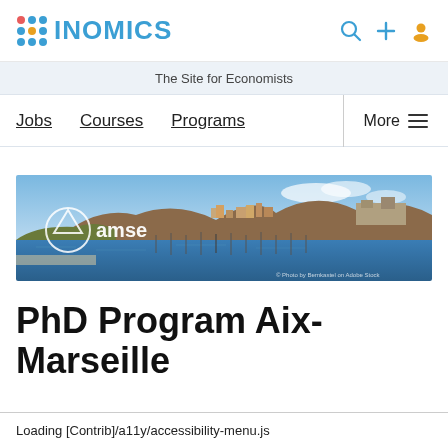INOMICS
The Site for Economists
Jobs  Courses  Programs  More
[Figure (photo): Panoramic photo of Aix-Marseille harbor with amse logo overlay — boats in a marina with a hillside city in the background under a blue sky]
PhD Program Aix-Marseille
Loading [Contrib]/a11y/accessibility-menu.js